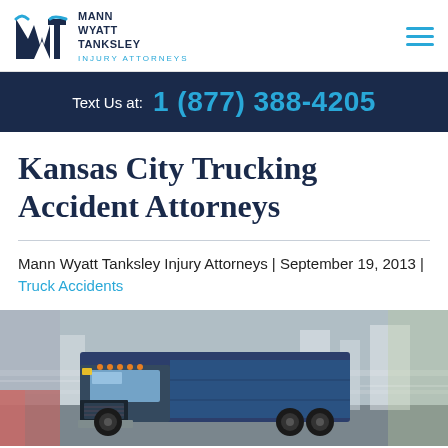Mann Wyatt Tanksley Injury Attorneys
Text Us at: 1 (877) 388-4205
Kansas City Trucking Accident Attorneys
Mann Wyatt Tanksley Injury Attorneys | September 19, 2013 | Truck Accidents
[Figure (photo): A large semi-truck driving at speed with motion blur in an urban setting]